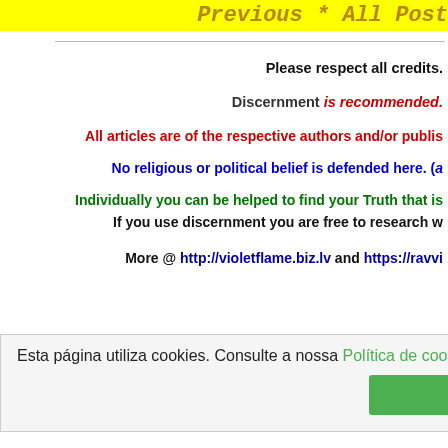Previous * All Post
Please respect all credits.
Discernment is recommended.
All articles are of the respective authors and/or publis
No religious or political belief is defended here. (a
Individually you can be helped to find your Truth that is
If you use discernment you are free to research w
More @ http://violetflame.biz.lv and https://ravvi
Esta página utiliza cookies. Consulte a nossa Política de cookies. Aceitar